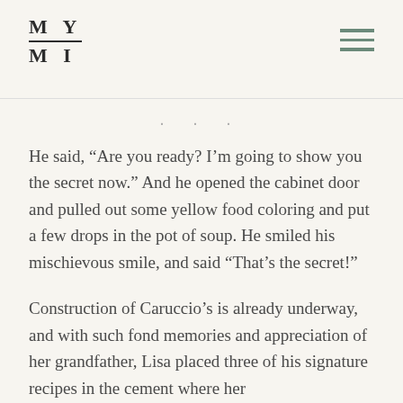MY MI
He said, “Are you ready? I’m going to show you the secret now.” And he opened the cabinet door and pulled out some yellow food coloring and put a few drops in the pot of soup. He smiled his mischievous smile, and said “That’s the secret!”
Construction of Caruccio’s is already underway, and with such fond memories and appreciation of her grandfather, Lisa placed three of his signature recipes in the cement where her